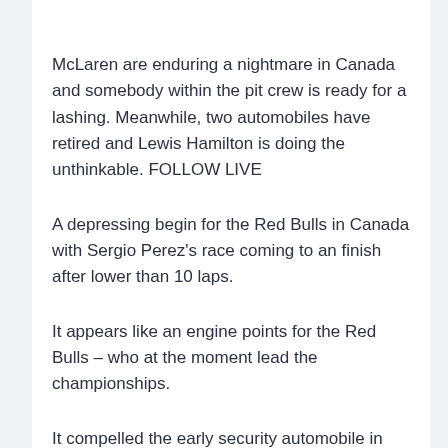McLaren are enduring a nightmare in Canada and somebody within the pit crew is ready for a lashing. Meanwhile, two automobiles have retired and Lewis Hamilton is doing the unthinkable. FOLLOW LIVE
A depressing begin for the Red Bulls in Canada with Sergio Perez's race coming to an finish after lower than 10 laps.
It appears like an engine points for the Red Bulls – who at the moment lead the championships.
It compelled the early security automobile in